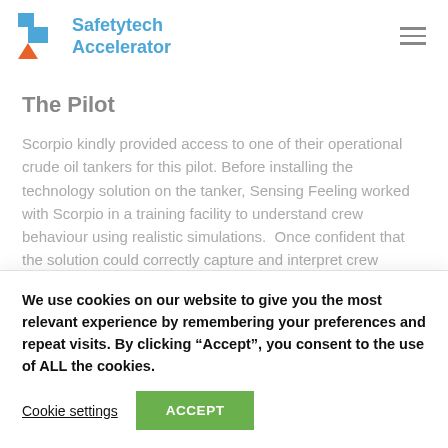[Figure (logo): Safetytech Accelerator logo with blue and orange T-shaped icon and blue text]
The Pilot
Scorpio kindly provided access to one of their operational crude oil tankers for this pilot. Before installing the technology solution on the tanker, Sensing Feeling worked with Scorpio in a training facility to understand crew behaviour using realistic simulations. Once confident that the solution could correctly capture and interpret crew
We use cookies on our website to give you the most relevant experience by remembering your preferences and repeat visits. By clicking “Accept”, you consent to the use of ALL the cookies.